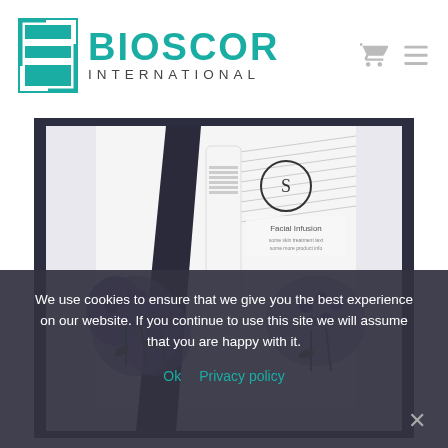[Figure (logo): Bioscor International logo with teal square icon and teal BIOSCOR text with INTERNATIONAL subtitle in grey]
[Figure (photo): Product photo showing skincare/cosmetic tubes and packaging surrounded by purple flowers on a white background, in a dark frame]
We use cookies to ensure that we give you the best experience on our website. If you continue to use this site we will assume that you are happy with it.
Ok   Privacy policy